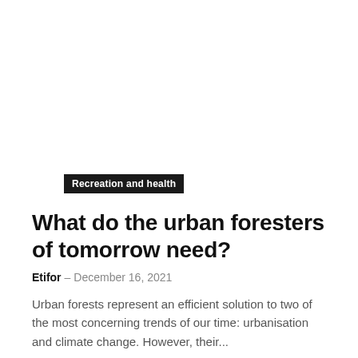[Figure (photo): White/blank image placeholder area at top of page]
Recreation and health
What do the urban foresters of tomorrow need?
Etifor – December 16, 2021
Urban forests represent an efficient solution to two of the most concerning trends of our time: urbanisation and climate change. However, their...
From religion to conservation: Greek community guards sacred forest for over...